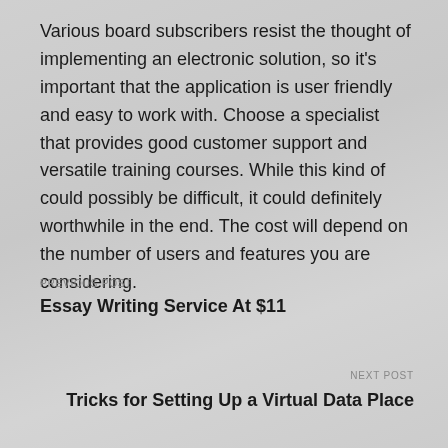Various board subscribers resist the thought of implementing an electronic solution, so it's important that the application is user friendly and easy to work with. Choose a specialist that provides good customer support and versatile training courses. While this kind of could possibly be difficult, it could definitely worthwhile in the end. The cost will depend on the number of users and features you are considering.
PREVIOUS POST
Essay Writing Service At $11
NEXT POST
Tricks for Setting Up a Virtual Data Place